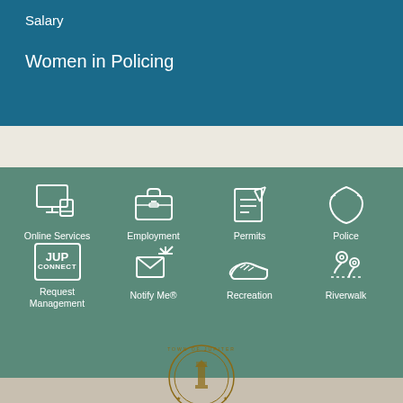Salary
Women in Policing
[Figure (infographic): Navigation icons grid on teal/green background: Online Services (monitor icons), Employment (briefcase), Permits (clipboard with pencil), Police (badge outline), Request Management (JUP CONNECT box), Notify Me (letter/phone), Recreation (sneaker), Riverwalk (location pins)]
[Figure (logo): Town of Jupiter Florida circular seal with lighthouse]